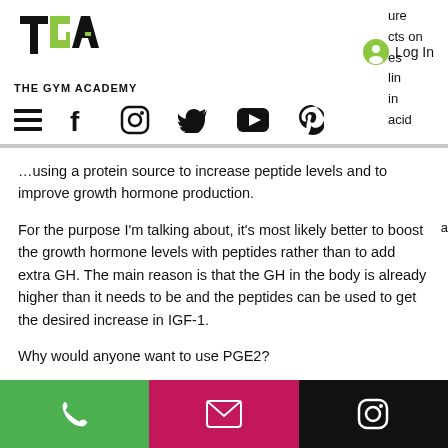[Figure (logo): The Gym Academy logo with stylized TGA letters and green accent]
THE GYM ACADEMY
[Figure (illustration): Navigation icons: hamburger menu, Facebook, Instagram, Twitter, YouTube, Pinterest]
...using a protein source to increase peptide levels and to improve growth hormone production.
For the purpose I'm talking about, it's most likely better to boost the growth hormone levels with peptides rather than to add extra GH. The main reason is that the GH in the body is already higher than it needs to be and the peptides can be used to get the desired increase in IGF-1.
Why would anyone want to use PGE2?
[Figure (other): Bottom navigation bar with phone (green), email (pink), and Instagram (black) icons]